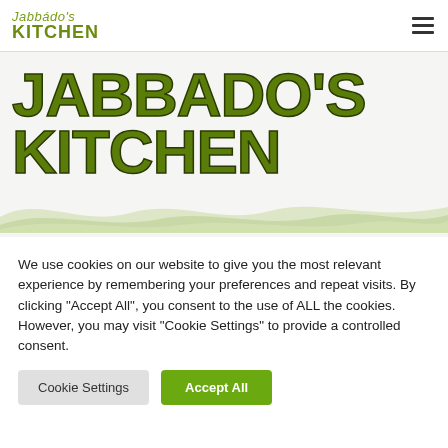Jabbado's Kitchen
JABBADO'S KITCHEN
[Figure (illustration): Decorative wave pattern in muted green/grey at the bottom of the hero section]
We use cookies on our website to give you the most relevant experience by remembering your preferences and repeat visits. By clicking "Accept All", you consent to the use of ALL the cookies. However, you may visit "Cookie Settings" to provide a controlled consent.
Cookie Settings | Accept All